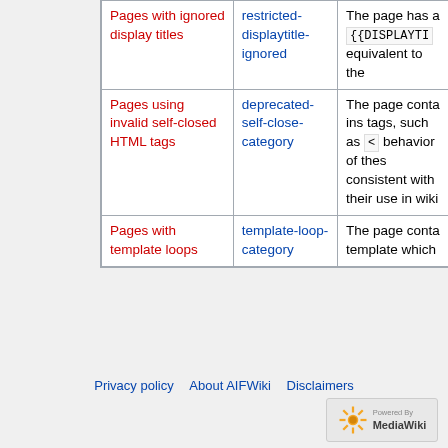| Page category | Category key | Description |
| --- | --- | --- |
| Pages with ignored display titles | restricted-displaytitle-ignored | The page has a {{DISPLAYTI... equivalent to the... |
| Pages using invalid self-closed HTML tags | deprecated-self-close-category | The page contains tags, such as <... behavior of these consistent with ... their use in wiki... |
| Pages with template loops | template-loop-category | The page conta... template which ... |
Privacy policy · About AIFWiki · Disclaimers